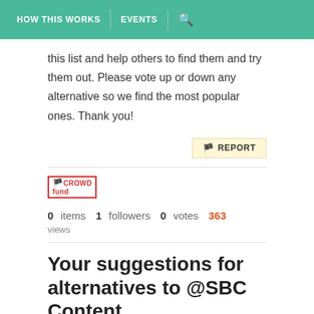HOW THIS WORKS   EVENTS   🔍
this list and help others to find them and try them out. Please vote up or down any alternative so we find the most popular ones. Thank you!
[Figure (other): Report button with flag icon and text 'REPORT' on a pale yellow background]
[Figure (logo): CrowdFund logo — red outlined box with 'CROWD' and 'fund' text in red]
0 items   1 followers   0 votes   363 views
Your suggestions for alternatives to @SBC Content